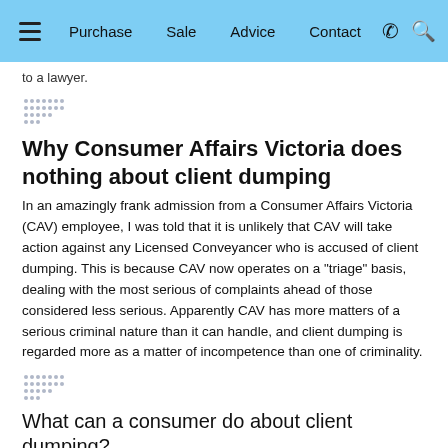Purchase | Sale | Advice | Contact
to a lawyer.
[Figure (other): Decorative dot/grid divider element]
Why Consumer Affairs Victoria does nothing about client dumping
In an amazingly frank admission from a Consumer Affairs Victoria (CAV) employee, I was told that it is unlikely that CAV will take action against any Licensed Conveyancer who is accused of client dumping. This is because CAV now operates on a "triage" basis, dealing with the most serious of complaints ahead of those considered less serious. Apparently CAV has more matters of a serious criminal nature than it can handle, and client dumping is regarded more as a matter of incompetence than one of criminality.
[Figure (other): Decorative dot/grid divider element]
What can a consumer do about client dumping?
The advice I have given to victims of client dumping is as follows:
Consider the taxi analogy above. You would not simply exit the taxi in